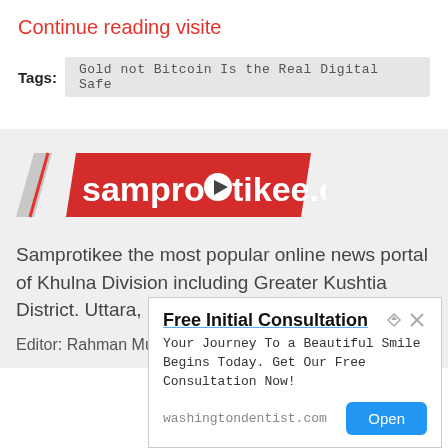Continue reading visite
Tags:  Gold not Bitcoin Is the Real Digital Safe
[Figure (logo): Samprotikee.com logo with red parallelogram background and slash icon]
Samprotikee the most popular online news portal of Khulna Division including Greater Kushtia District. Uttara, Dhaka, Bangladesh.
Editor: Rahman Muqul
Free Initial Consultation
Your Journey To a Beautiful Smile Begins Today. Get Our Free Consultation Now!
washingtondentist.com  Open